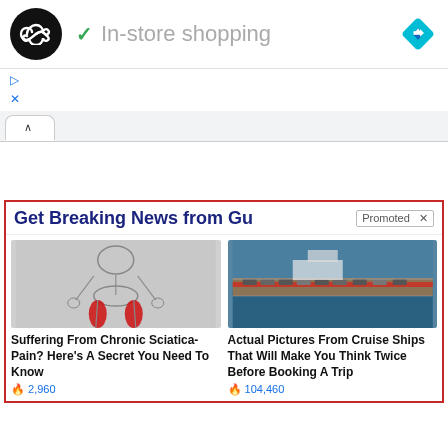[Figure (screenshot): Top navigation bar with circular logo (black circle with infinity/loop symbol), green checkmark, 'In-store shopping' text, and blue diamond navigation icon]
▷
✕
∧
Get Breaking News from G...
Promoted ✕
[Figure (illustration): Medical illustration of human skeleton lower body with red highlighted muscles (thighs/sciatica area)]
Suffering From Chronic Sciatica-Pain? Here's A Secret You Need To Know
🔥 2,960
[Figure (photo): Aerial photo of cruise ship deck with cars and ocean view]
Actual Pictures From Cruise Ships That Will Make You Think Twice Before Booking A Trip
🔥 104,460